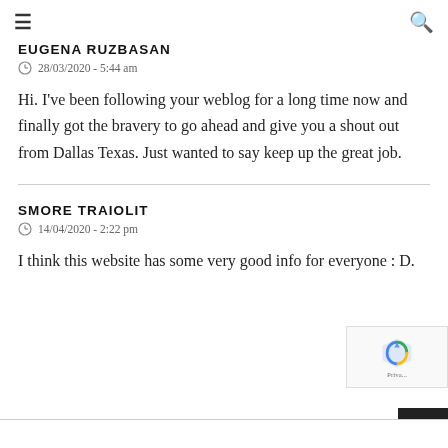≡  🔍
EUGENA RUZBASAN
28/03/2020 - 5:44 am
Hi. I've been following your weblog for a long time now and finally got the bravery to go ahead and give you a shout out from Dallas Texas. Just wanted to say keep up the great job.
SMORE TRAIOLIT
14/04/2020 - 2:22 pm
I think this website has some very good info for everyone : D.